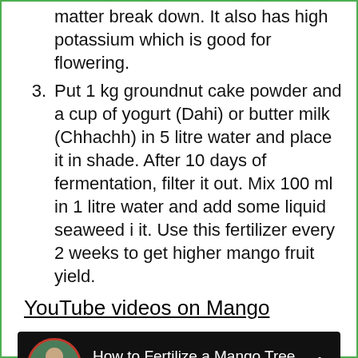matter break down. It also has high potassium which is good for flowering.
3. Put 1 kg groundnut cake powder and a cup of yogurt (Dahi) or butter milk (Chhachh) in 5 litre water and place it in shade. After 10 days of fermentation, filter it out. Mix 100 ml in 1 litre water and add some liquid seaweed i it. Use this fertilizer every 2 weeks to get higher mango fruit yield.
YouTube videos on Mango
[Figure (screenshot): YouTube video thumbnail showing 'How to Fertilize a Mango Tree : Ho...' with GPH channel avatar]